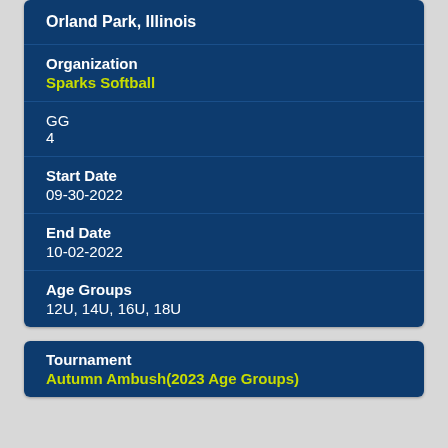Orland Park, Illinois
Organization
Sparks Softball
GG
4
Start Date
09-30-2022
End Date
10-02-2022
Age Groups
12U, 14U, 16U, 18U
Tournament
Autumn Ambush(2023 Age Groups)